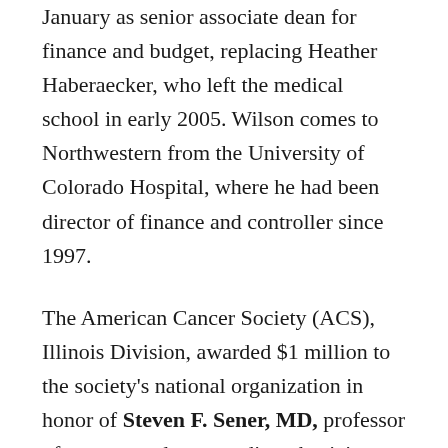January as senior associate dean for finance and budget, replacing Heather Haberaecker, who left the medical school in early 2005. Wilson comes to Northwestern from the University of Colorado Hospital, where he had been director of finance and controller since 1997.
The American Cancer Society (ACS), Illinois Division, awarded $1 million to the society's national organization in honor of Steven F. Sener, MD, professor of surgery and an attending physician at Evanston Northwestern Healthcare. Dr. Sener is president of the ACS and a past-president of the Illinois Division. The check was presented at a